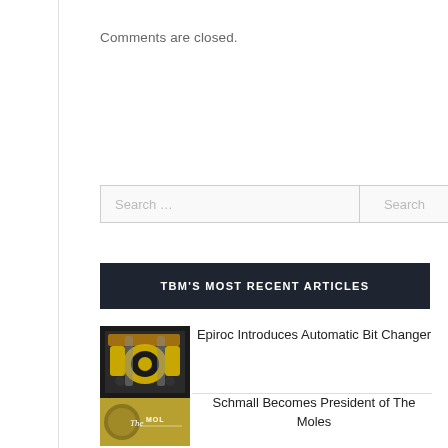Comments are closed.
Search ...
TBM'S MOST RECENT ARTICLES
[Figure (photo): Photo of Epiroc automatic bit changer machinery with yellow and black components]
Epiroc Introduces Automatic Bit Changer
[Figure (logo): The Moles organization logo with circular emblem and cursive text]
Schmall Becomes President of The Moles